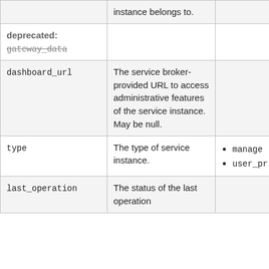| Field | Description | Valid Values |
| --- | --- | --- |
|  | instance belongs to. |  |
| deprecated: gateway_data |  |  |
| dashboard_url | The service broker-provided URL to access administrative features of the service instance. May be null. |  |
| type | The type of service instance. | • managed
• user_pr |
| last_operation | The status of the last operation |  |